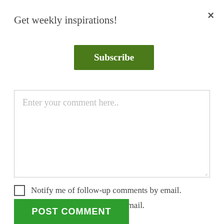×
Get weekly inspirations!
Subscribe
Enter your comment here..
Notify me of follow-up comments by email.
Notify me of new posts by email.
POST COMMENT